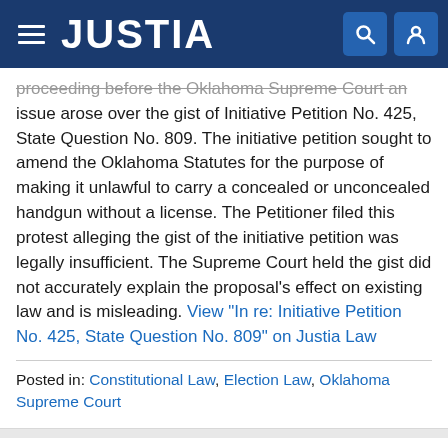JUSTIA
proceeding before the Oklahoma Supreme Court an issue arose over the gist of Initiative Petition No. 425, State Question No. 809. The initiative petition sought to amend the Oklahoma Statutes for the purpose of making it unlawful to carry a concealed or unconcealed handgun without a license. The Petitioner filed this protest alleging the gist of the initiative petition was legally insufficient. The Supreme Court held the gist did not accurately explain the proposal's effect on existing law and is misleading. View "In re: Initiative Petition No. 425, State Question No. 809" on Justia Law
Posted in: Constitutional Law, Election Law, Oklahoma Supreme Court
In re: Initiative Petition No. 426 State Question